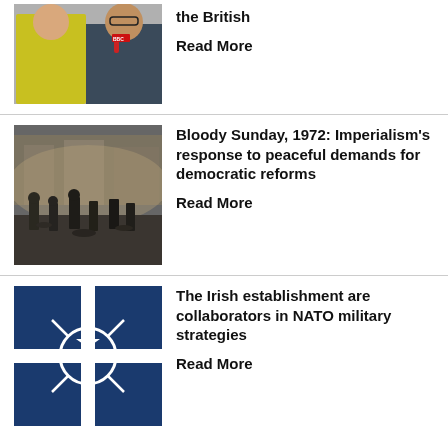[Figure (photo): Two men, one in yellow vest (Boris Johnson-like figure) and one in a suit speaking into microphones]
the British
Read More
[Figure (photo): Black and white photo of Bloody Sunday 1972, soldiers and crowd in street]
Bloody Sunday, 1972: Imperialism's response to peaceful demands for democratic reforms
Read More
[Figure (photo): NATO flag — white compass rose on dark blue background]
The Irish establishment are collaborators in NATO military strategies
Read More